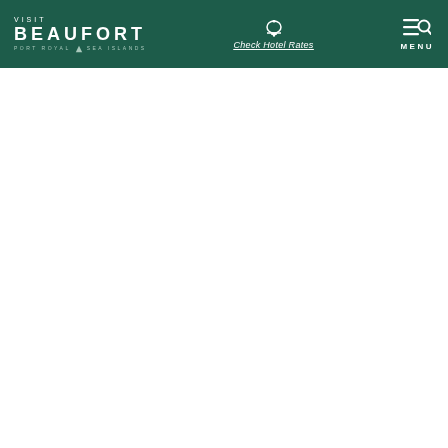VISIT BEAUFORT PORT ROYAL SEA ISLANDS | Check Hotel Rates | MENU